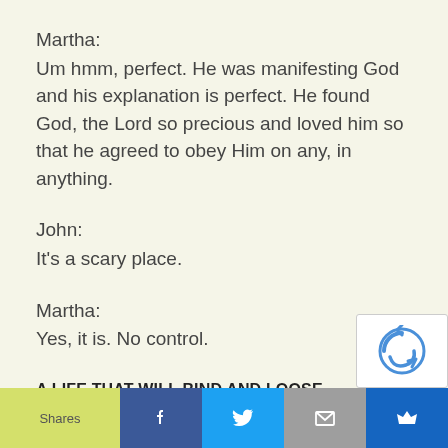Martha:
Um hmm, perfect. He was manifesting God and his explanation is perfect. He found God, the Lord so precious and loved him so that he agreed to obey Him on any, in anything.
John:
It's a scary place.
Martha:
Yes, it is. No control.
A LIFE THAT WILL BIND AND LOOSE – EPISODE #613 – SHULAMITE PODCAST
Shares | f | t | mail | crown